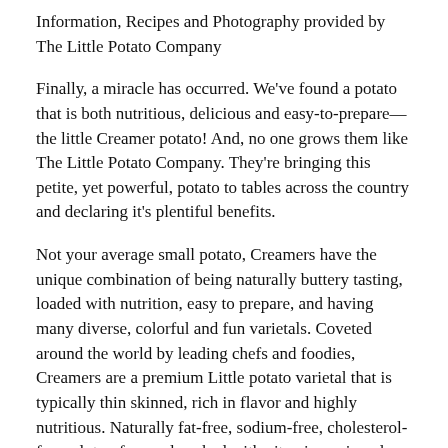Information, Recipes and Photography provided by The Little Potato Company
Finally, a miracle has occurred. We've found a potato that is both nutritious, delicious and easy-to-prepare—the little Creamer potato! And, no one grows them like The Little Potato Company. They're bringing this petite, yet powerful, potato to tables across the country and declaring it's plentiful benefits.
Not your average small potato, Creamers have the unique combination of being naturally buttery tasting, loaded with nutrition, easy to prepare, and having many diverse, colorful and fun varietals. Coveted around the world by leading chefs and foodies, Creamers are a premium Little potato varietal that is typically thin skinned, rich in flavor and highly nutritious. Naturally fat-free, sodium-free, cholesterol-free, gluten-free and packed with vitamins, minerals and antioxidants at only 20 calories each, Creamers can truly be a perfect part of your family's healthy, balanced diet. And, they come with no cleaning or peeling required!